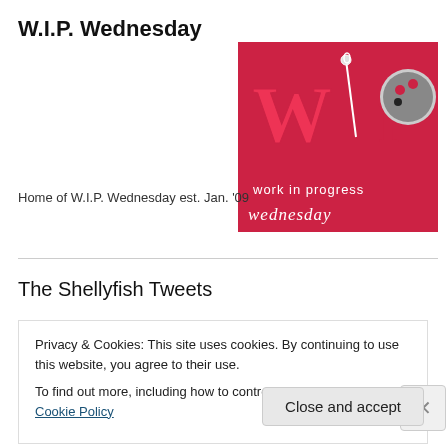W.I.P. Wednesday
[Figure (illustration): W.I.P. Wednesday logo banner — red background with large letters 'WIP', needle and thread motif, text 'work in progress wednesday' on a red/pink background]
Home of W.I.P. Wednesday est. Jan. '09
The Shellyfish Tweets
The world is calling you to come out and play! Fabulous change... More
Privacy & Cookies: This site uses cookies. By continuing to use this website, you agree to their use.
To find out more, including how to control cookies, see here: Cookie Policy
Close and accept